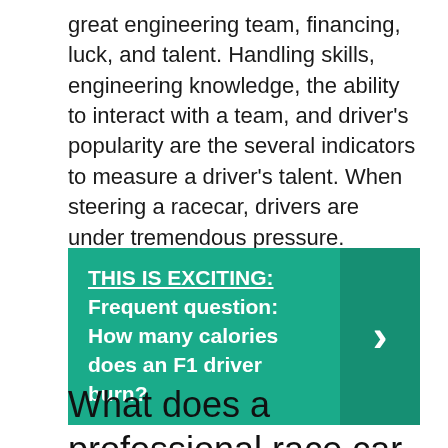great engineering team, financing, luck, and talent. Handling skills, engineering knowledge, the ability to interact with a team, and driver's popularity are the several indicators to measure a driver's talent. When steering a racecar, drivers are under tremendous pressure.
THIS IS EXCITING: Frequent question: How many calories does an F1 driver burn?
What does a professional race car driver do?
A racecar driver is someone who makes his or her living by competing in motor races. There are lots of different types of race...